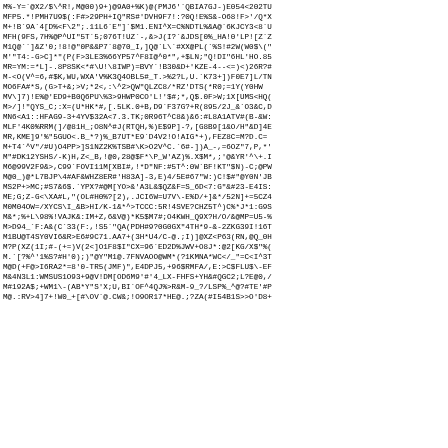M%-Y=`@X2/$\^R!,M@00)9+)@9A0+%K)@(PMJ6'`QBIA7GJ-)E054<202TU MFP5.*!PMH7U9$(:F#>29PH+IQ"RS#'DVH9F7!:?0Q!E%S&-O68!F>'/Q*X M+!B`9A`4[D%<F\2";.11L6`E"]`$M1.ENI^X=C%NDTL%&A@`6KJCY3<8`U MFH(9FS,7H%@P^UI"5T`5;076T!UZ`-,&>J(I?`&JDS[0%_HA!0'LP![Z`Z M1Q@``]&Z'0;!8!@"0P&&P7`8@70_I,]Q@`L\`#XX@PL(`%S!#2W(W0$\(" M'"T4:-G>C]*"(P(F>3LE3%66YP57^F8I@^0*",+$LN;"Q!DI"6HL'HO.85 MR=YM:=*L]-.8P8SK<*#\U!\8IWP)=BVY`!B30&D+'KZE-4--<=)<)26R?# M-<O(V^=6,#$K,WU,WXA'V%K3Q4OBL5#_T.>%2?L,U.`K73+])F0E7]L/TN MO6FA#*S,(G>T+&>;V;*2<,:\A^2>QW"QLZC8/*RZ'DTS(*R0;=1Y(Y0HW MV\]7)!E%@'ED9+B0Q6PU\%3>9HWP0CO'L!'$#;*,Q$.0F>W;1X[UMS<HQ( M>/]!"QYS_C;:X=(U*HK*#,[.5LK.0+B,D9`F37G?+R(895/2J_&`O3&C,D MN6<A1::HFAG9-3+4YV$32A<7.3.TK;0R96T^C8&)&6:#L8A1ATV#(B-&W: MLF'4K0%RRM(]/@81H_;O8N^#J(RTQH,%)E$9P]-?,[G8B9[1&O/H"&D]4E MR,KME]9'%"5GUO<.B_*?)%_B7UT*E9`D4V2!O!AIG*+),FEZ8C=M?D.C= M+T4`^V"/#U)O4PP>]S1NZ2K%TSB#\K>O2V^C.`6#-])A_-,=6OZ"7,P,*' M"#DK12YSHS/-K)H,Z<_B,!@0,28@$F*\P_W'AZ)%.X$M*,;'@&YR'^\+.I M6@99V2F9&>,C99`FOVI11M[XBI#,!*D"NF:#5T^:0W`BF!KT"$G)-C;@PW M@0_)@*L7BJP\4#AF&WHZ8ER#'H83A]-3,E)4/5E#67"W:)C!$#"@Y0N'JB MS2P+>MC;#S7&6$.`YPX?#@M[YO>&'A3L&$QZ&F=S_6D<7:G"&#23-E4IS: ME;G;Z-G<\XA#L,"(OL#H0%?[2),.JCI6W=U7V\-E%D/+]&*/52N]+=5CZ4 M0M04OW=/XYCS\I_&B>HI/K-1&*^>TCCC:5R!4SVE?CHZ5T^)C%*J*1:G9S M&*;%+L\98%!VAJK&:IM+Z,6&V@)*K5$M7#;O4KWH_Q9X?H/O/&@MP=U5-% M>D94_`F:A&(C`33(F:,!S5`"QA(PDH#9?0G0GX"4TH*9-&-2ZKG39I!16T M1BU@T4SY0VI6&R>E6#9C71.AA7+(3H*U4/C-@.;I)]@XZ<P63(RN,@Q_0H M?P(QZ(1I;#-(+=)V(2<]O1F8$I"CX=96`ED2D%JWV+O8J*:@2[RG/X$"%( M.`[?%^'1%S?#H'0);)"@Y"M1@.7FNVAOO@WM*(?1KMNA*WC</_"=C<I^3T M@D(+F@>I6RA2*=8'0-TR5(JMF)",L4KPJ5,+96$RMFA/,L:>C$FLU$\-LF M&4N3L1:WMSUS1O93+9@V!KM[OK6M9'#'4_LX-FOFS+YH&#QGC2;L?L@0,/ M#192A$;+WM1\-(AB*Y"S'X;U,BI`OF^4QJ%>Y&M-9_?/LSP%_^@?#TL'#P M@.:RV>4]7+!W0_+[#\OV`@.CW&;!O9OR17*HE@.;?ZA(#I54B1S>>O'K8+